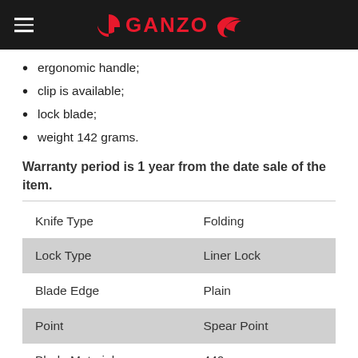GANZO
ergonomic handle;
clip is available;
lock blade;
weight 142 grams.
Warranty period is 1 year from the date sale of the item.
| Knife Type | Folding |
| --- | --- |
| Lock Type | Liner Lock |
| Blade Edge | Plain |
| Point | Spear Point |
| Blade Material | 440 |